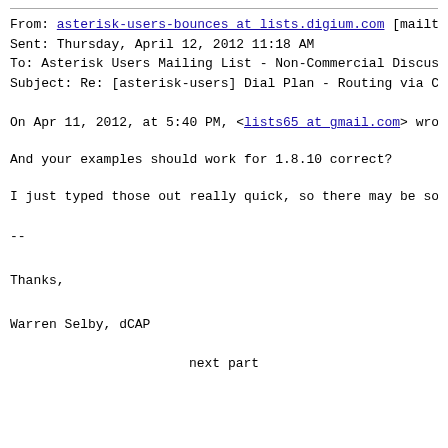From: asterisk-users-bounces at lists.digium.com [mailto
Sent: Thursday, April 12, 2012 11:18 AM
To: Asterisk Users Mailing List - Non-Commercial Discussi
Subject: Re: [asterisk-users] Dial Plan - Routing via Ca
On Apr 11, 2012, at 5:40 PM, <lists65 at gmail.com> wrote
And your examples should work for 1.8.10 correct?
I just typed those out really quick, so there may be some
--

Thanks,

Warren Selby, dCAP
next part